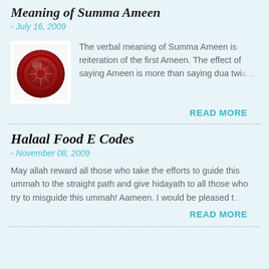Meaning of Summa Ameen
- July 16, 2009
[Figure (photo): Red wax seal with decorative emblem]
The verbal meaning of Summa Ameen is reiteration of the first Ameen. The effect of saying Ameen is more than saying dua twi…
READ MORE
Halaal Food E Codes
- November 08, 2009
May allah reward all those who take the efforts to guide this ummah to the straight path and give hidayath to all those who try to misguide this ummah! Aameen. I would be pleased t…
READ MORE